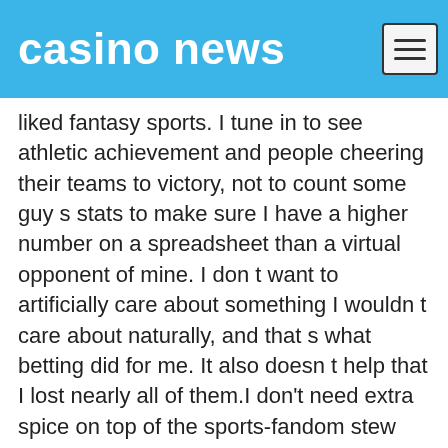casino news
liked fantasy sports. I tune in to see athletic achievement and people cheering their teams to victory, not to count some guy s stats to make sure I have a higher number on a spreadsheet than a virtual opponent of mine. I don t want to artificially care about something I wouldn t care about naturally, and that s what betting did for me. It also doesn t help that I lost nearly all of them.I don't need extra spice on top of the sports-fandom stew I've cooked for myself over the past several years. I'm in this for the love of the game, man. In my brief time with it, sports betting introduced more anxiety than pleasure.It's scary. It can feel gross. It can drain your wallet. And you bet the app is still on my phone anyway.
[Figure (infographic): Share bar with Facebook, Twitter, Pinterest icons and a Facebook Like button showing 0 likes]